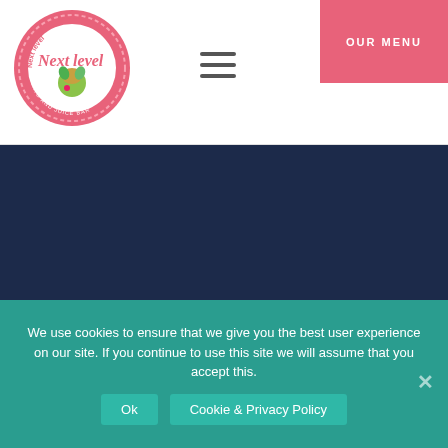[Figure (logo): Next Level Gelato and Juice Bar circular pink badge logo with tropical fruit imagery]
[Figure (other): Hamburger menu icon (three horizontal lines)]
OUR MENU
Menu
We use cookies to ensure that we give you the best user experience on our site. If you continue to use this site we will assume that you accept this.
Ok
Cookie & Privacy Policy